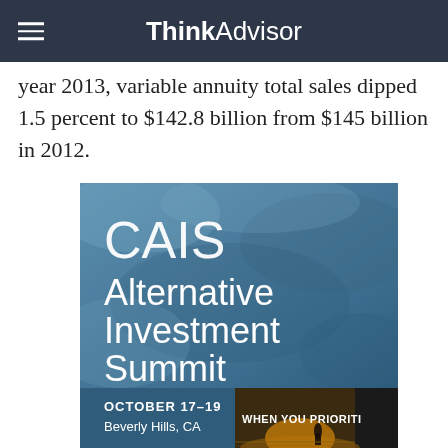ThinkAdvisor
year 2013, variable annuity total sales dipped 1.5 percent to $142.8 billion from $145 billion in 2012.
[Figure (illustration): CAIS Alternative Investment Summit advertisement. Blue watercolor textured background with white text reading 'CAIS Alternative Investment Summit' and 'OCTOBER 17-19, Beverly Hills, CA'. Partially overlaid by another advertisement showing a silhouetted person on water with text 'WHEN YOU PRIORITI...']